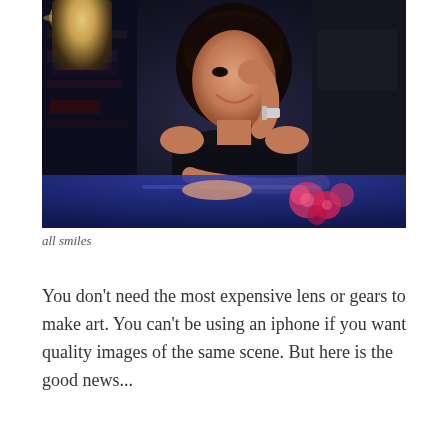[Figure (photo): A young Asian woman with dark shoulder-length hair and bangs, wearing a dark sleeveless top and floral blue skirt, sitting at a blue table and smiling with her hand near her chin. A lamp is visible in the dark background.]
all smiles
You don't need the most expensive lens or gears to make art. You can't be using an iphone if you want quality images of the same scene. But here is the good news...